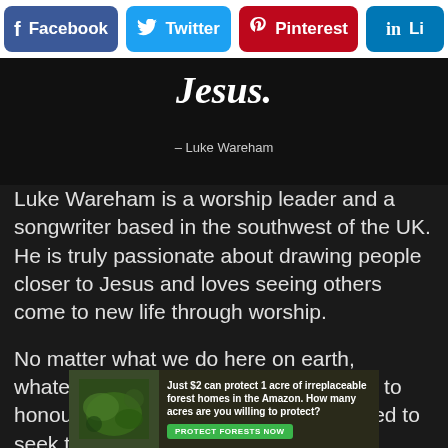[Figure (screenshot): Social media share buttons row: Facebook (blue), Twitter (sky blue), Pinterest (red), LinkedIn (partial, blue)]
Jesus.
– Luke Wareham
Luke Wareham is a worship leader and a songwriter based in the southwest of the UK. He is truly passionate about drawing people closer to Jesus and loves seeing others come to new life through worship.
No matter what we do here on earth, whatever our calling might be, we need to honour the Lord through it. We truly need to seek that same desire as Luke has
[Figure (infographic): Advertisement banner: rainforest image on left, text 'Just $2 can protect 1 acre of irreplaceable forest homes in the Amazon. How many acres are you willing to protect?' with green 'PROTECT FORESTS NOW' button]